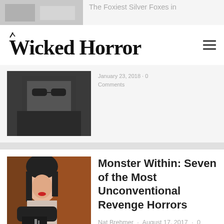[Figure (photo): Partial thumbnail image for silver foxes article, grayish photo partially visible at top]
The Foxiest Silver Foxes in
Wicked Horror
[Figure (photo): Dark photo of a person wearing sunglasses, partially visible above article section]
[Figure (photo): Woman with dark hair wearing black gloves, working on a tattooing or surgery scene with blood visible]
Monster Within: Seven of the Most Unconventional Revenge Horrors
Nat Brehmer · August 17, 2017 · 0 Comments
[Figure (photo): Close-up of a person's torso, blurred/skin tone image with dark mark visible]
Five Death Scenes That Made Us Sad and